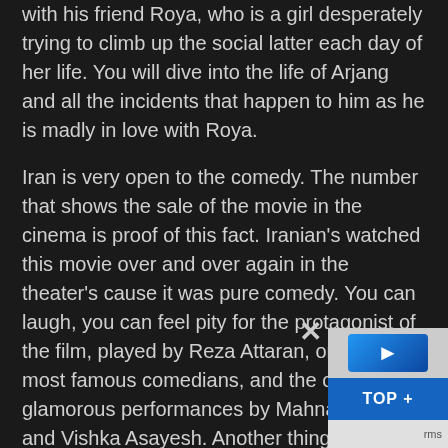with his friend Roya, who is a girl desperately trying to climb up the social latter each day of her life. You will dive into the life of Arjang and all the incidents that happen to him as he is madly in love with Roya.
Iran is very open to the comedy. The number that shows the sale of the movie in the cinema is proof of this fact. Iranian's watched this movie over and over again in the theater's cause it was pure comedy. You can laugh, you can feel pity for the protagonist of the film, played by Reza Attaran, one of the most famous comedians, and the other glamorous performances by Mahnaz Afshar and Vishka Asayesh. Another thing which makes the movie worth watching is the lifestyle alternation that you get to see during the movie. It somehow shows the history of Iran from the time of Shah, until the present era. Sperm Whale is a comedy that you shouldn't miss watching. Give yourself some laugh with watching this hilarious movie.
[Figure (other): TOP button overlay with close X button and logo/ad box in bottom-right corner]